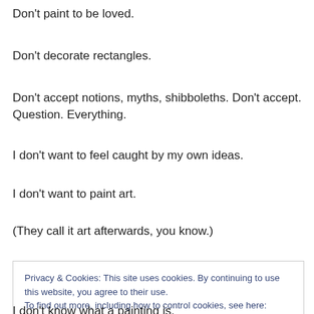Don't paint to be loved.
Don't decorate rectangles.
Don't accept notions, myths, shibboleths. Don't accept. Question. Everything.
I don't want to feel caught by my own ideas.
I don't want to paint art.
(They call it art afterwards, you know.)
Privacy & Cookies: This site uses cookies. By continuing to use this website, you agree to their use.
To find out more, including how to control cookies, see here: Cookie Policy
I don't know what a painting is.